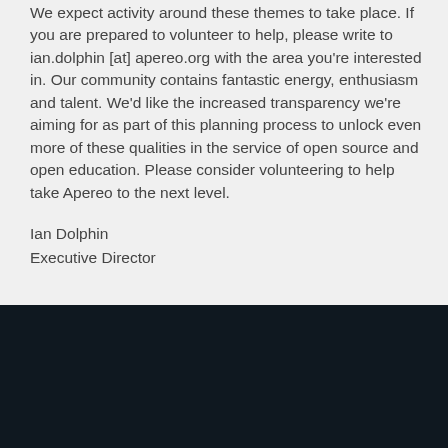We expect activity around these themes to take place. If you are prepared to volunteer to help, please write to ian.dolphin [at] apereo.org with the area you're interested in. Our community contains fantastic energy, enthusiasm and talent. We'd like the increased transparency we're aiming for as part of this planning process to unlock even more of these qualities in the service of open source and open education. Please consider volunteering to help take Apereo to the next level.
Ian Dolphin
Executive Director